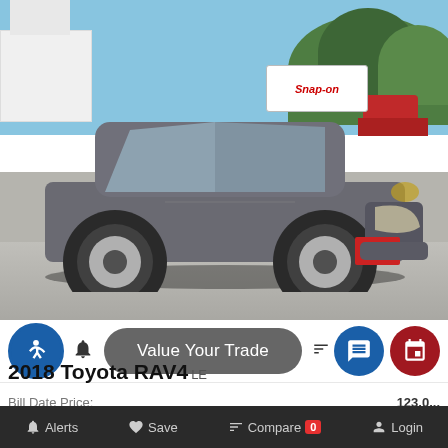[Figure (photo): Gray 2018 Toyota RAV4 LE SUV parked in a lot with blue sky and green trees in background, Snap-on sign visible, asphalt ground with shadow under vehicle]
Value Your Trade
2018 Toyota RAV4 LE
Bill Date Price: 123,0...
Alerts   Save   Compare 0   Login